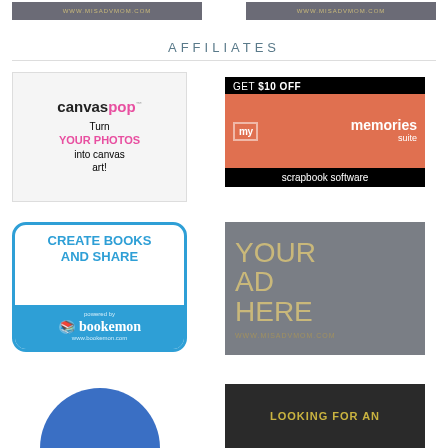[Figure (other): Top banner with www.misadvmom.com text on grey background, left side]
[Figure (other): Top banner with www.misadvmom.com text on grey background, right side]
AFFILIATES
[Figure (other): CanvasPop ad: 'canvaspop' logo, Turn YOUR PHOTOS into canvas art!]
[Figure (other): My Memories Suite ad: GET $10 OFF, my memories suite scrapbook software]
[Figure (other): Bookemon ad: CREATE BOOKS AND SHARE, powered by bookemon www.bookemon.com]
[Figure (other): YOUR AD HERE www.misadvmom.com on grey background]
[Figure (other): Blue circle partial image at bottom left]
[Figure (other): LOOKING FOR AN text on dark background, bottom right]